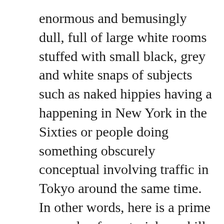enormous and bemusingly dull, full of large white rooms stuffed with small black, grey and white snaps of subjects such as naked hippies having a happening in New York in the Sixties or people doing something obscurely conceptual involving traffic in Tokyo around the same time. In other words, here is a prime example of curatorial overkill: an exhibition that is far too large for its subject.
[Figure (other): Broken image link labeled "Nadar's photograph of Deburau" shown as a hyperlink with broken image icon]